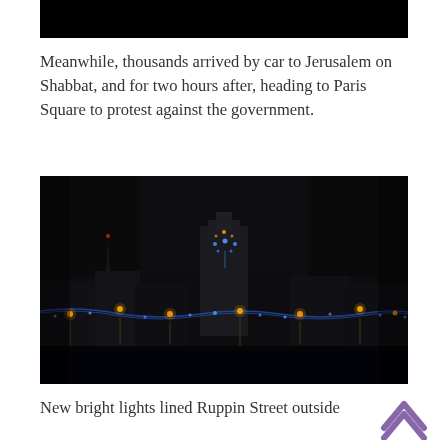[Figure (photo): Black rectangle at top of page, cropped image]
Meanwhile, thousands arrived by car to Jerusalem on Shabbat, and for two hours after, heading to Paris Square to protest against the government.
[Figure (photo): Night cityscape photograph showing city lights and buildings illuminated against a dark sky, with blue lights along a waterfront or street.]
New bright lights lined Ruppin Street outside